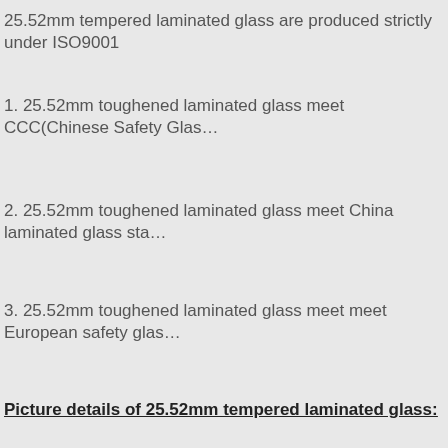25.52mm tempered laminated glass are produced strictly under ISO9001
1. 25.52mm toughened laminated glass meet CCC(Chinese Safety Glas…
2. 25.52mm toughened laminated glass meet China laminated glass sta…
3. 25.52mm toughened laminated glass meet meet European safety glas…
Picture details of  25.52mm tempered laminated glass: